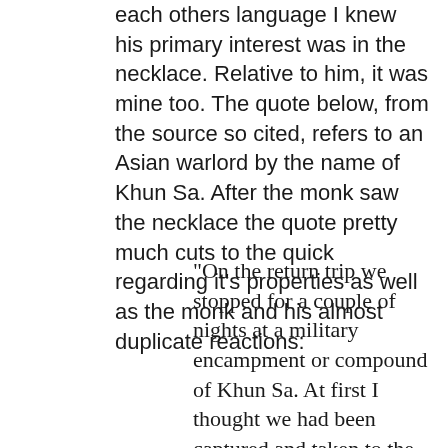each others language I knew his primary interest was in the necklace. Relative to him, it was mine too. The quote below, from the source so cited, refers to an Asian warlord by the name of Khun Sa. After the monk saw the necklace the quote pretty much cuts to the quick regarding it's properties as well as the monk and his almost duplicate reactions:
"On the return trip we stopped for a couple of nights at a military encampment or compound of Khun Sa. At first I thought we had been captured and taken to the camp, which for all practical purposes, we were. However, once we were inside the perimeter of the compound it was quite obvious the Australians and Khun Sa knew each other. He wanted